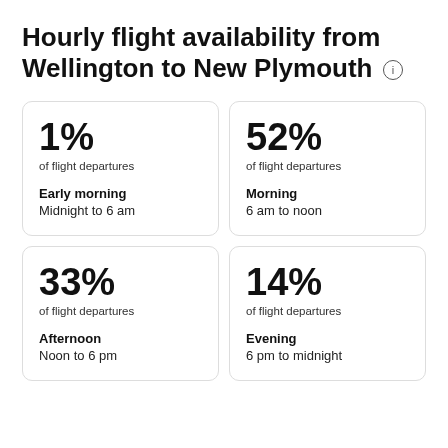Hourly flight availability from Wellington to New Plymouth
1%
of flight departures
Early morning
Midnight to 6 am
52%
of flight departures
Morning
6 am to noon
33%
of flight departures
Afternoon
Noon to 6 pm
14%
of flight departures
Evening
6 pm to midnight